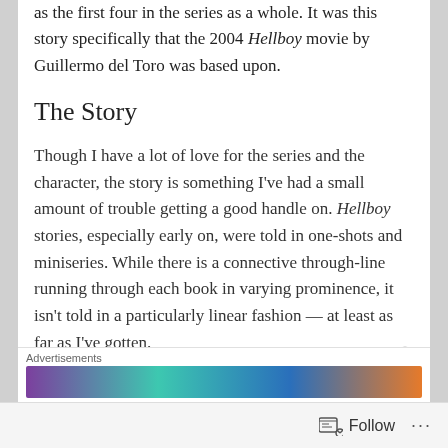as the first four in the series as a whole. It was this story specifically that the 2004 Hellboy movie by Guillermo del Toro was based upon.
The Story
Though I have a lot of love for the series and the character, the story is something I've had a small amount of trouble getting a good handle on. Hellboy stories, especially early on, were told in one-shots and miniseries. While there is a connective through-line running through each book in varying prominence, it isn't told in a particularly linear fashion — at least as far as I've gotten.
Advertisements
[Figure (other): Advertisement banner with purple, teal, blue and orange gradient colors]
Follow ...